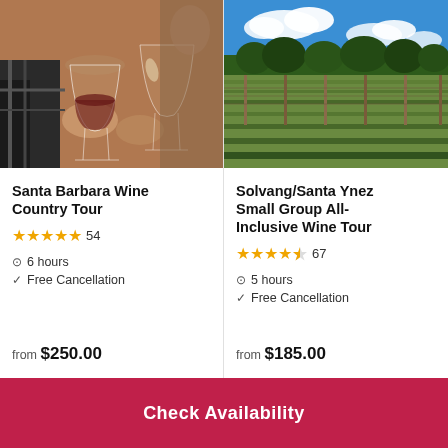[Figure (photo): Close-up photo of two people clinking wine glasses]
Santa Barbara Wine Country Tour
★★★★★ 54
6 hours
Free Cancellation
from $250.00
[Figure (photo): Aerial photo of a vineyard with blue sky and clouds]
Solvang/Santa Ynez Small Group All-Inclusive Wine Tour
★★★★½ 67
5 hours
Free Cancellation
from $185.00
Check Availability